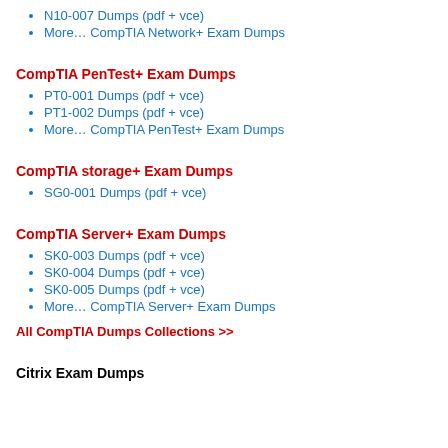N10-007 Dumps (pdf + vce)
More… CompTIA Network+ Exam Dumps
CompTIA PenTest+ Exam Dumps
PT0-001 Dumps (pdf + vce)
PT1-002 Dumps (pdf + vce)
More… CompTIA PenTest+ Exam Dumps
CompTIA storage+ Exam Dumps
SG0-001 Dumps (pdf + vce)
CompTIA Server+ Exam Dumps
SK0-003 Dumps (pdf + vce)
SK0-004 Dumps (pdf + vce)
SK0-005 Dumps (pdf + vce)
More… CompTIA Server+ Exam Dumps
All CompTIA Dumps Collections >>
Citrix Exam Dumps